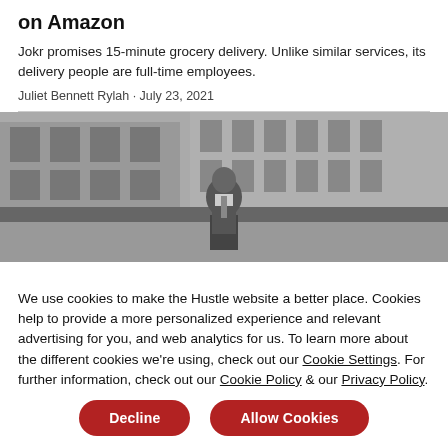on Amazon
Jokr promises 15-minute grocery delivery. Unlike similar services, its delivery people are full-time employees.
Juliet Bennett Rylah · July 23, 2021
[Figure (photo): Black and white photo of a man standing in front of a building with windows and hedges]
We use cookies to make the Hustle website a better place. Cookies help to provide a more personalized experience and relevant advertising for you, and web analytics for us. To learn more about the different cookies we're using, check out our Cookie Settings. For further information, check out our Cookie Policy & our Privacy Policy.